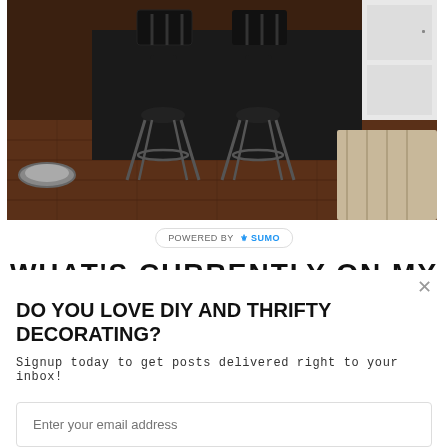[Figure (photo): Kitchen island with black metal bar stools on hardwood floor, with white cabinets and a rug in the background]
POWERED BY SUMO
WHAT'S CURRENTLY ON MY
DO YOU LOVE DIY AND THRIFTY DECORATING?
Signup today to get posts delivered right to your inbox!
Enter your email address
Subscribe Now